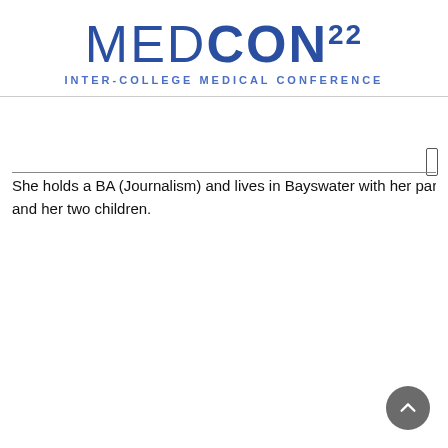MEDCON22 INTER-COLLEGE MEDICAL CONFERENCE
She holds a BA (Journalism) and lives in Bayswater with her partner Philip and her two children.